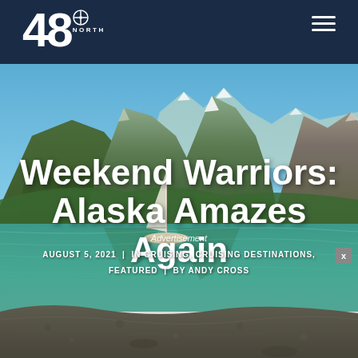48° NORTH
[Figure (photo): Scenic Alaskan fjord with a sailboat anchored on calm green water, surrounded by forested mountains and a rocky beach in the foreground, under a clear blue sky.]
Weekend Warriors: Alaska Amazes Again
Advertisement
AUGUST 5, 2021  |  IN CRUISING, CRUISING DESTINATIONS, FEATURED  |  BY ANDY CROSS